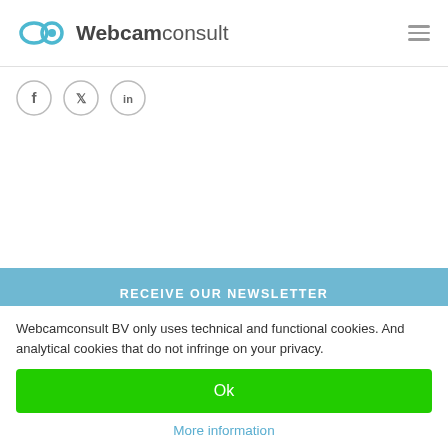Webcamconsult
[Figure (logo): Webcamconsult logo with infinity/camera icon in teal and text 'Webcamconsult' in grey]
[Figure (infographic): Social media icons: Facebook, Twitter, LinkedIn in circular outlines]
RECEIVE OUR NEWSLETTER
Webcamconsult BV only uses technical and functional cookies. And analytical cookies that do not infringe on your privacy.
Ok
More information